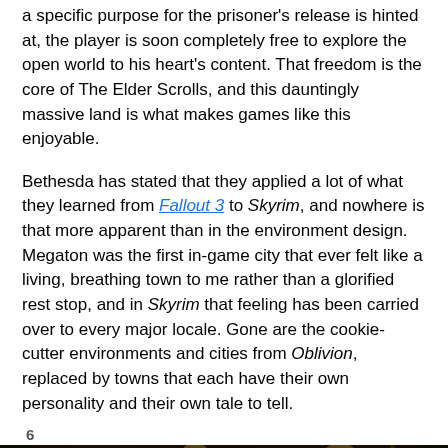a specific purpose for the prisoner's release is hinted at, the player is soon completely free to explore the open world to his heart's content. That freedom is the core of The Elder Scrolls, and this dauntingly massive land is what makes games like this enjoyable.
Bethesda has stated that they applied a lot of what they learned from Fallout 3 to Skyrim, and nowhere is that more apparent than in the environment design. Megaton was the first in-game city that ever felt like a living, breathing town to me rather than a glorified rest stop, and in Skyrim that feeling has been carried over to every major locale. Gone are the cookie-cutter environments and cities from Oblivion, replaced by towns that each have their own personality and their own tale to tell.
6
[Figure (photo): Dark screenshot from The Elder Scrolls Skyrim showing armored figures/statues in dim stone surroundings, with a blue chat button overlay in the bottom-left corner.]